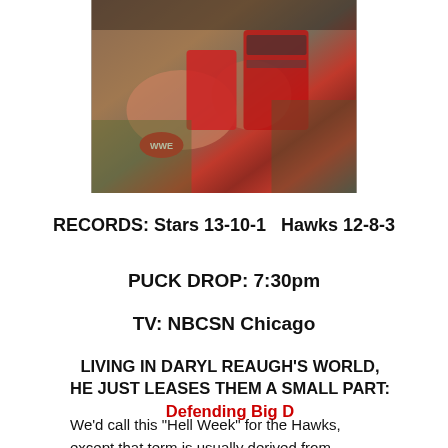[Figure (photo): Partial photo of hands holding WWE-branded and red-colored items, possibly belts or championship props]
RECORDS: Stars 13-10-1   Hawks 12-8-3
PUCK DROP: 7:30pm
TV: NBCSN Chicago
LIVING IN DARYL REAUGH'S WORLD, HE JUST LEASES THEM A SMALL PART: Defending Big D
We'd call this “Hell Week” for the Hawks, except that term is usually derived from fraternity hazing rituals and fraternities and sororities are evil and stupid and really